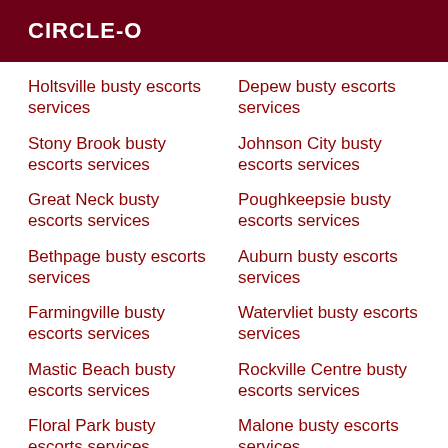CIRCLE-O
Holtsville busty escorts services
Depew busty escorts services
Stony Brook busty escorts services
Johnson City busty escorts services
Great Neck busty escorts services
Poughkeepsie busty escorts services
Bethpage busty escorts services
Auburn busty escorts services
Farmingville busty escorts services
Watervliet busty escorts services
Mastic Beach busty escorts services
Rockville Centre busty escorts services
Floral Park busty escorts services
Malone busty escorts services